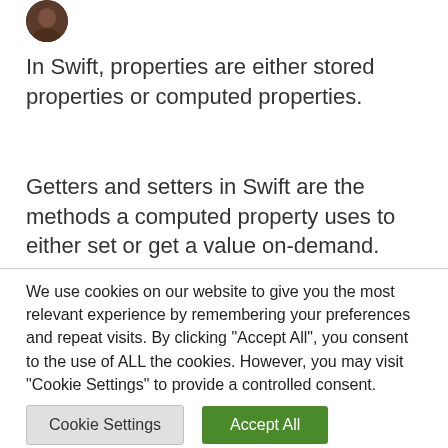[Figure (photo): Circular avatar/profile image with dark brown background, partially visible at top-left]
In Swift, properties are either stored properties or computed properties.
Getters and setters in Swift are the methods a computed property uses to either set or get a value on-demand.
We use cookies on our website to give you the most relevant experience by remembering your preferences and repeat visits. By clicking "Accept All", you consent to the use of ALL the cookies. However, you may visit "Cookie Settings" to provide a controlled consent.
Cookie Settings
Accept All